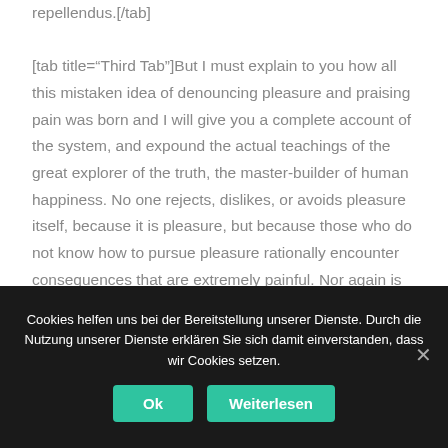repellendus.[/tab]

[tab title="Third Tab"]But I must explain to you how all this mistaken idea of denouncing pleasure and praising pain was born and I will give you a complete account of the system, and expound the actual teachings of the great explorer of the truth, the master-builder of human happiness. No one rejects, dislikes, or avoids pleasure itself, because it is pleasure, but because those who do not know how to pursue pleasure rationally encounter consequences that are extremely painful. Nor again is there anyone who loves or pursues or desires to obtain
Cookies helfen uns bei der Bereitstellung unserer Dienste. Durch die Nutzung unserer Dienste erklären Sie sich damit einverstanden, dass wir Cookies setzen.
Ok
Weiterlesen